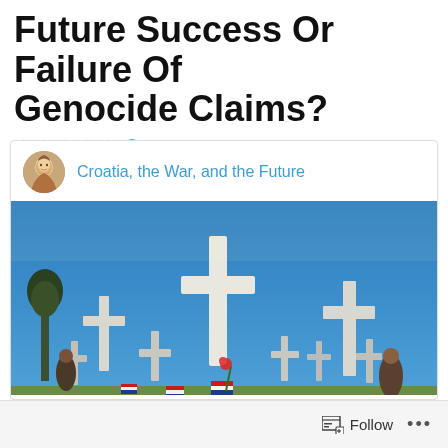Future Success Or Failure Of Genocide Claims?
★★★★★ ℹ 2 Votes
Croatia, the War, and the Future
[Figure (photo): A cemetery with white crosses decorated with Croatian flags and red candles under a blue sky, commemorating war victims.]